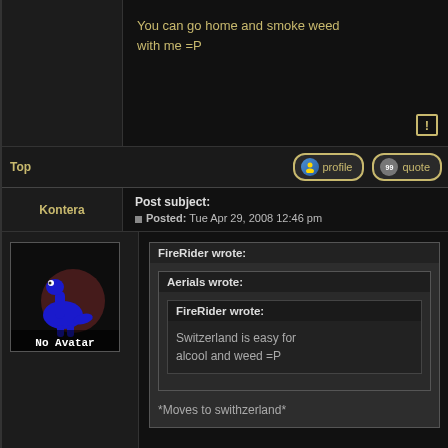You can go home and smoke weed with me =P
Top
profile
quote
Kontera
Post subject:
Posted: Tue Apr 29, 2008 12:46 pm
[Figure (illustration): Forum avatar placeholder showing blue dinosaur silhouette on dark background with text 'No Avatar']
FireRider wrote:
Aerials wrote:
FireRider wrote:
Switzerland is easy for alcool and weed =P
*Moves to swithzerland*